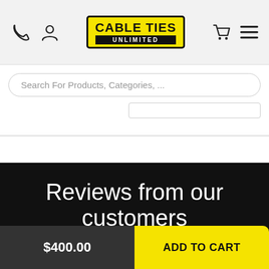Cable Ties Unlimited — header with phone, user, cart, menu icons and logo
Search For Products, Categories, ...
Reviews from our customers
$400.00
ADD TO CART